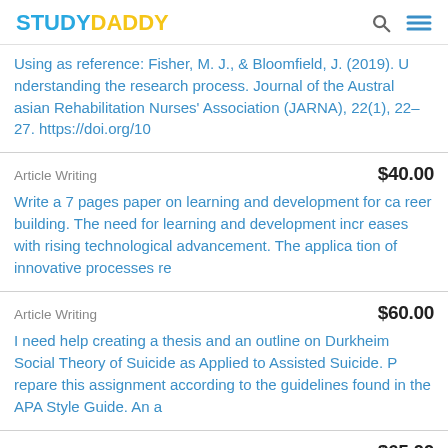STUDYDADDY
Using as reference: Fisher, M. J., & Bloomfield, J. (2019). Understanding the research process. Journal of the Australasian Rehabilitation Nurses' Association (JARNA), 22(1), 22–27. https://doi.org/10
Article Writing   $40.00
Write a 7 pages paper on learning and development for career building. The need for learning and development increases with rising technological advancement. The application of innovative processes re
Article Writing   $60.00
I need help creating a thesis and an outline on Durkheim Social Theory of Suicide as Applied to Assisted Suicide. Prepare this assignment according to the guidelines found in the APA Style Guide. An a
Article Writing   $65.00